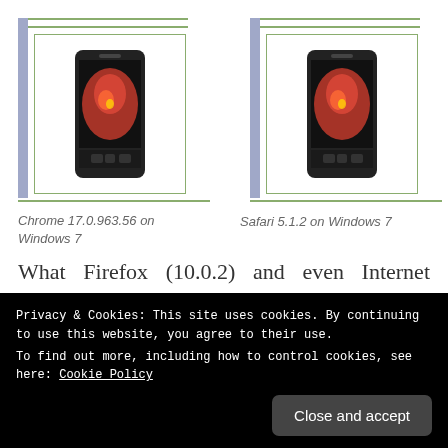[Figure (screenshot): Screenshot of a smartphone browser test on Chrome 17.0.963.56 on Windows 7 showing a phone image in a framed UI]
Chrome 17.0.963.56 on Windows 7
[Figure (screenshot): Screenshot of a smartphone browser test on Safari 5.1.2 on Windows 7 showing a phone image in a framed UI with 'Aub' label]
Safari 5.1.2 on Windows 7
What Firefox (10.0.2) and even Internet Explorer 9 are doing:
Privacy & Cookies: This site uses cookies. By continuing to use this website, you agree to their use.
To find out more, including how to control cookies, see here: Cookie Policy